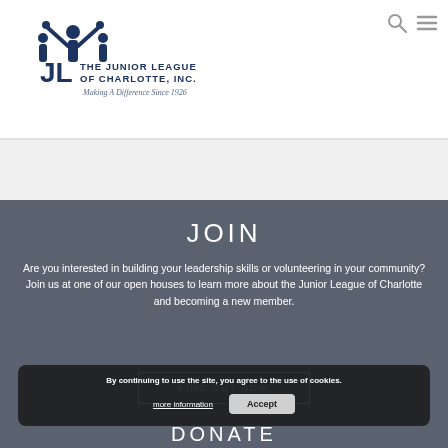[Figure (logo): The Junior League of Charlotte, Inc. logo with figure icon and text 'Making A Difference Since 1926']
JOIN
Are you interested in building your leadership skills or volunteering in your community? Join us at one of our open houses to learn more about the Junior League of Charlotte and becoming a new member.
FIND OUT HOW
By continuing to use the site, you agree to the use of cookies.
more information
Accept
DONATE